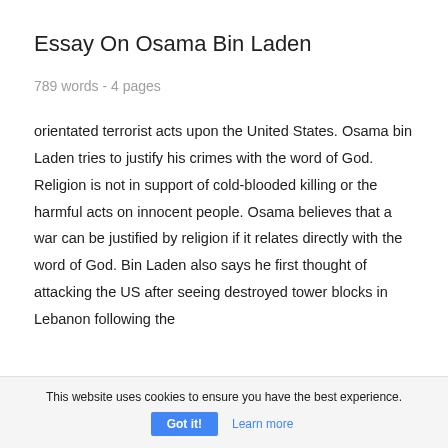Essay On Osama Bin Laden
789 words - 4 pages
orientated terrorist acts upon the United States. Osama bin Laden tries to justify his crimes with the word of God. Religion is not in support of cold-blooded killing or the harmful acts on innocent people. Osama believes that a war can be justified by religion if it relates directly with the word of God. Bin Laden also says he first thought of attacking the US after seeing destroyed tower blocks in Lebanon following the
This website uses cookies to ensure you have the best experience.
Got it!
Learn more